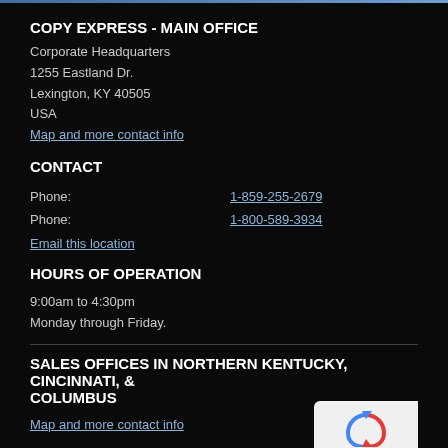COPY EXPRESS - MAIN OFFICE
Corporate Headquarters
1255 Eastland Dr.
Lexington, KY 40505
USA
Map and more contact info
CONTACT
Phone: 1-859-255-2679
Phone: 1-800-589-3934
Email this location
HOURS OF OPERATION
9:00am to 4:30pm
Monday through Friday.
SALES OFFICES IN NORTHERN KENTUCKY, CINCINNATI, & COLUMBUS
Map and more contact info
CONTACT
[Figure (logo): Google reCAPTCHA badge with spinning arrows icon and Privacy - Terms text]